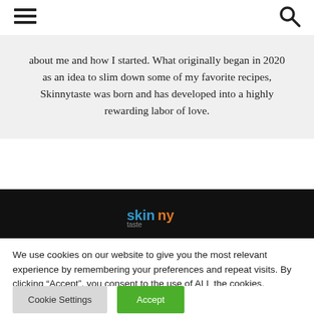hamburger menu icon | search icon
about me and how I started. What originally began in 2020 as an idea to slim down some of my favorite recipes, Skinnytaste was born and has developed into a highly rewarding labor of love.
[Figure (logo): Skinnytaste logo text in blue and orange on dark background]
We use cookies on our website to give you the most relevant experience by remembering your preferences and repeat visits. By clicking “Accept”, you consent to the use of ALL the cookies. Do not sell my personal information.
Cookie Settings | Accept